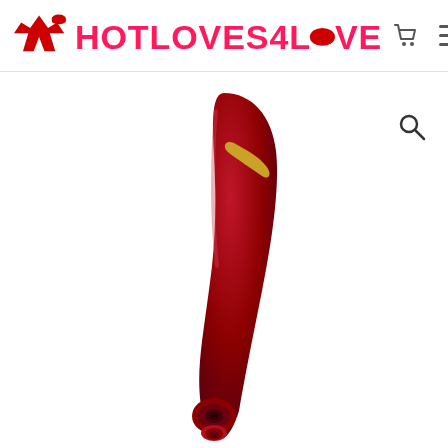HOTLOVES4LOVE — website header with logo, cart icon, and hamburger menu
[Figure (photo): Product photo of a red Womanizer premium clitoral stimulator with gold accent stripe, shown on white background. The device is elongated and curved, dark red/crimson in color with a matte finish, featuring a gold decorative line near the top and a circular suction opening at the bottom.]